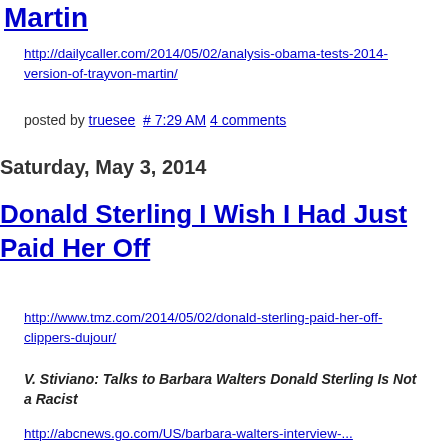Martin
http://dailycaller.com/2014/05/02/analysis-obama-tests-2014-version-of-trayvon-martin/
posted by truesee  # 7:29 AM  4 comments
Saturday, May 3, 2014
Donald Sterling I Wish I Had Just Paid Her Off
http://www.tmz.com/2014/05/02/donald-sterling-paid-her-off-clippers-dujour/
V. Stiviano: Talks to Barbara Walters Donald Sterling Is Not a Racist
http://abcnews.go.com/US/barbara-walters-interview-...